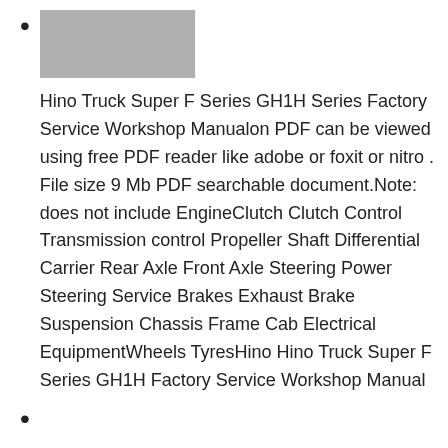[truck image] Hino Truck Super F Series GH1H Series Factory Service Workshop Manualon PDF can be viewed using free PDF reader like adobe or foxit or nitro . File size 9 Mb PDF searchable document.Note: does not include EngineClutch Clutch Control Transmission control Propeller Shaft Differential Carrier Rear Axle Front Axle Steering Power Steering Service Brakes Exhaust Brake Suspension Chassis Frame Cab Electrical EquipmentWheels TyresHino Hino Truck Super F Series GH1H Factory Service Workshop Manual